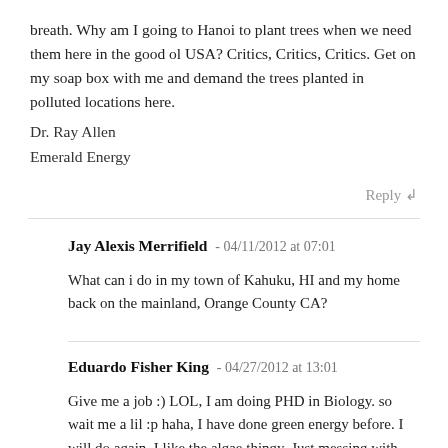breath. Why am I going to Hanoi to plant trees when we need them here in the good ol USA? Critics, Critics, Critics. Get on my soap box with me and demand the trees planted in polluted locations here.
Dr. Ray Allen
Emerald Energy
Reply ↲
Jay Alexis Merrifield - 04/11/2012 at 07:01
What can i do in my town of Kahuku, HI and my home back on the mainland, Orange County CA?
Eduardo Fisher King - 04/27/2012 at 13:01
Give me a job :) LOL, I am doing PHD in Biology. so wait me a lil :p haha, I have done green energy before. I will do again, I like the algae thingy. Just messing with you on the job....Now I go back home to hund